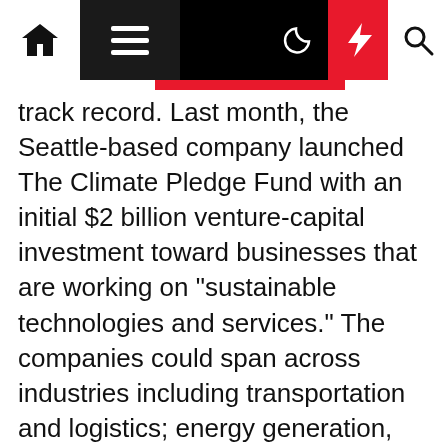Navigation bar with home, menu, moon, lightning, and search icons
track record. Last month, the Seattle-based company launched The Climate Pledge Fund with an initial $2 billion venture-capital investment toward businesses that are working on "sustainable technologies and services." The companies could span across industries including transportation and logistics; energy generation, storage and utilization; manufacturing and materials; the circular economy; as well as food and agriculture.
Last spring, more than 3,500 Amazon employees penned an open letter to Amazon founder and CEO Jeff Bezos, urging a companywide plan to address climate change. The workers sought an end to the use of fossil fuels, as well as urged the company to cut emissions in half by 2030 and reduce them to zero by 2050. Amazon promised then to reach the Paris Agreement 10 years early and achieve net zero